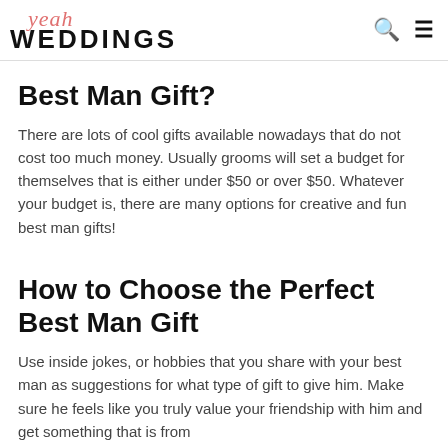yeah WEDDINGS
Best Man Gift?
There are lots of cool gifts available nowadays that do not cost too much money. Usually grooms will set a budget for themselves that is either under $50 or over $50. Whatever your budget is, there are many options for creative and fun best man gifts!
How to Choose the Perfect Best Man Gift
Use inside jokes, or hobbies that you share with your best man as suggestions for what type of gift to give him. Make sure he feels like you truly value your friendship with him and get something that is from